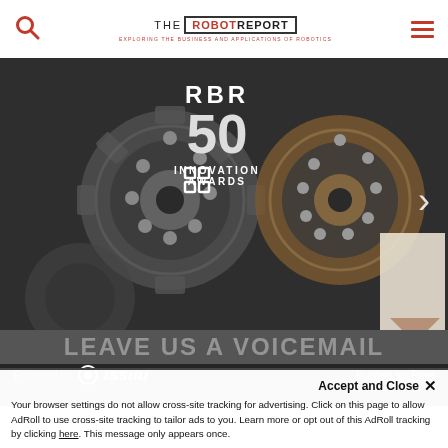THE ROBOT REPORT — EXPLORING THE BUSINESS AND APPLICATIONS OF ROBOTICS
[Figure (screenshot): Issuu embedded viewer showing RBR 50 Innovation Awards cover with gear imagery. Dark background with mechanical gears. Navigation arrow on right. Footer shows 'Powered by issuu' and 'Publish for Free'.]
LEAVE US A VOICEMAIL (partially visible)
Accept and Close ✕
Your browser settings do not allow cross-site tracking for advertising. Click on this page to allow AdRoll to use cross-site tracking to tailor ads to you. Learn more or opt out of this AdRoll tracking by clicking here. This message only appears once.